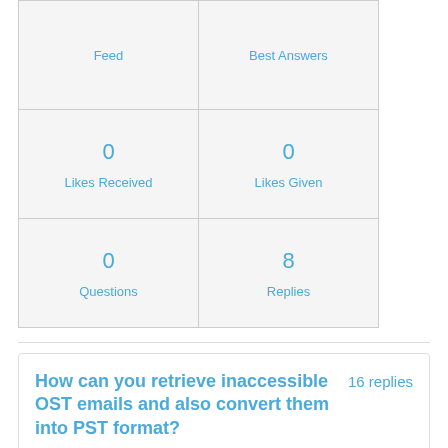| Feed | Best Answers |
| --- | --- |
| 0
Likes Received | 0
Likes Given |
| 0
Questions | 8
Replies |
How can you retrieve inaccessible OST emails and also convert them into PST format?
16 replies
Hello,

Are you having problems with your OST files? Are y...
Jermaine Young  January 31, 2017  Like  0  Continue reading or reply